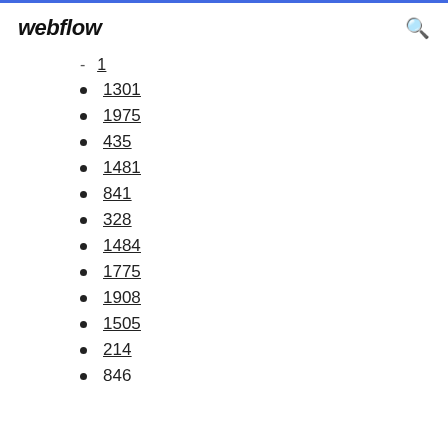webflow
1
1301
1975
435
1481
841
328
1484
1775
1908
1505
214
846